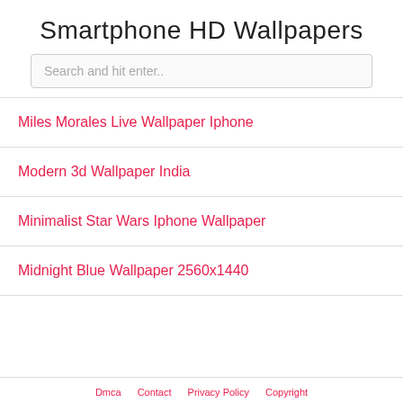Smartphone HD Wallpapers
Search and hit enter..
Miles Morales Live Wallpaper Iphone
Modern 3d Wallpaper India
Minimalist Star Wars Iphone Wallpaper
Midnight Blue Wallpaper 2560x1440
Dmca   Contact   Privacy Policy   Copyright